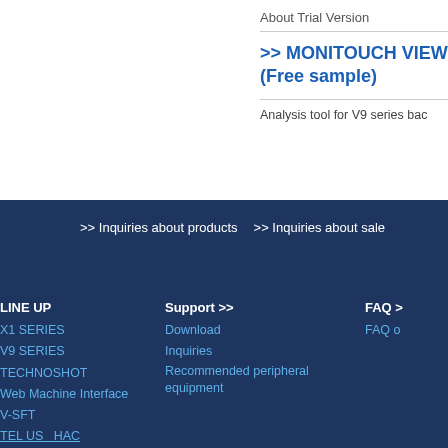About Trial Version
>> MONITOUCH VIEW (Free sample)
Analysis tool for V9 series bac
>> Inquiries about products
>> Inquiries about sale
LINE UP
X1 SERIES
V9 SERIES
TECHNOSHOT
Web Machine Interface
V-SFT
TEL US HAC
Support >>
Download
Inquiries
Recommended peripheral equipment
FAQ >
FAQ o